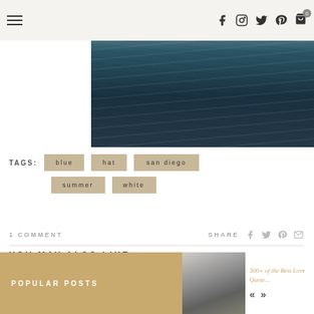Navigation header with hamburger menu and social icons (Facebook, Instagram, Twitter, Pinterest, Cart)
[Figure (photo): Dark blue ocean water surface texture photograph]
TAGS: blue  hat  san diego  summer  white
1 COMMENT   SHARE
YOU MAY ALSO LIKE...
POPULAR POSTS
[Figure (photo): Black and white photo of Eiffel Tower]
300+ of the Best Love Quote...